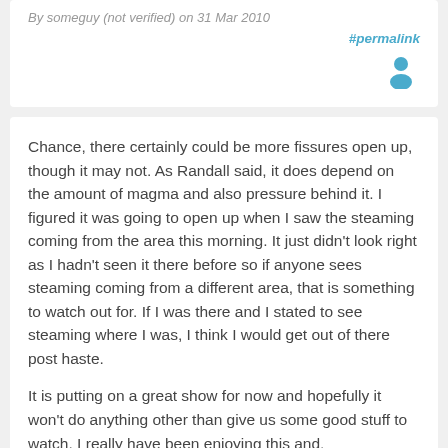By someguy (not verified) on 31 Mar 2010
#permalink
[Figure (illustration): User avatar icon - generic person silhouette in blue/teal color]
Chance, there certainly could be more fissures open up, though it may not. As Randall said, it does depend on the amount of magma and also pressure behind it. I figured it was going to open up when I saw the steaming coming from the area this morning. It just didn't look right as I hadn't seen it there before so if anyone sees steaming coming from a different area, that is something to watch out for. If I was there and I stated to see steaming where I was, I think I would get out of there post haste.
It is putting on a great show for now and hopefully it won't do anything other than give us some good stuff to watch. I really have been enjoying this and, consequently, not getting